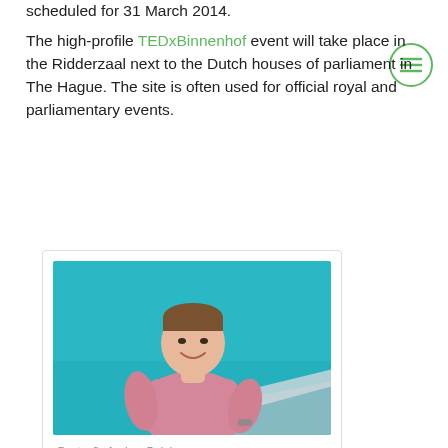scheduled for 31 March 2014.
The high-profile TEDxBinnenhof event will take place in the Ridderzaal next to the Dutch houses of parliament in The Hague. The site is often used for official royal and parliamentary events.
[Figure (photo): Photo of Pectcof's Andres Belalcazar, a young man in a pink shirt smiling, against a teal/cyan background]
Pectcof's Andres Belalcazar